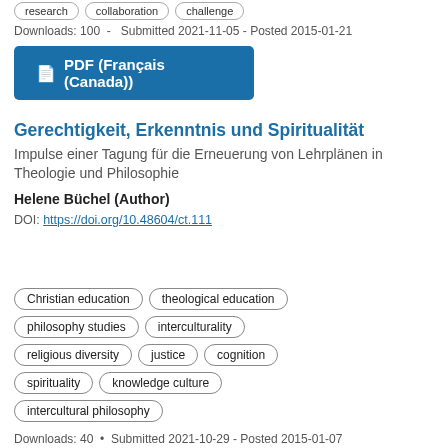research
collaboration
challenge
Downloads: 100  -  Submitted 2021-11-05 - Posted 2015-01-21
PDF (Français (Canada))
Gerechtigkeit, Erkenntnis und Spiritualität
Impulse einer Tagung für die Erneuerung von Lehrplänen in Theologie und Philosophie
Helene Büchel (Author)
DOI: https://doi.org/10.48604/ct.111
Christian education
theological education
philosophy studies
interculturality
religious diversity
justice
cognition
spirituality
knowledge culture
intercultural philosophy
Downloads: 40  •  Submitted 2021-10-29 - Posted 2015-01-07